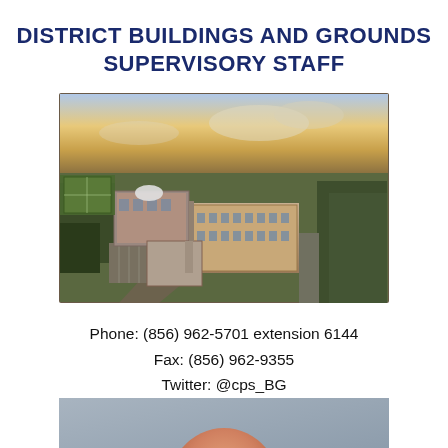DISTRICT BUILDINGS AND GROUNDS SUPERVISORY STAFF
[Figure (photo): Aerial drone photograph of a school district campus showing multiple brick buildings, parking lots, athletic fields, and surrounding suburban neighborhood at sunset or dusk.]
Phone: (856) 962-5701 extension 6144
Fax: (856) 962-9355
Twitter: @cps_BG
[Figure (photo): Partial portrait photo showing the top of a person's head against a blue-grey background, cropped at the bottom of the page.]